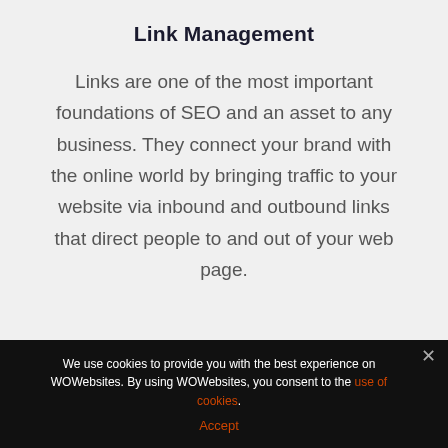Link Management
Links are one of the most important foundations of SEO and an asset to any business. They connect your brand with the online world by bringing traffic to your website via inbound and outbound links that direct people to and out of your web page.
We use cookies to provide you with the best experience on WOWebsites. By using WOWebsites, you consent to the use of cookies.
Accept